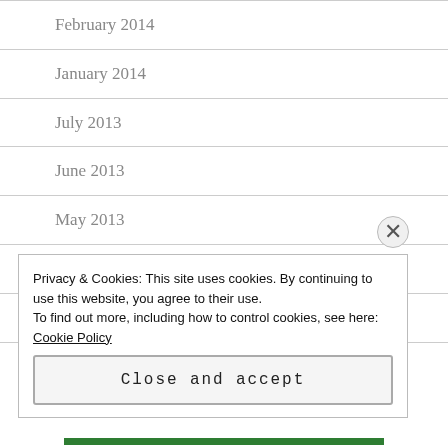February 2014
January 2014
July 2013
June 2013
May 2013
April 2013
March 2013
Privacy & Cookies: This site uses cookies. By continuing to use this website, you agree to their use.
To find out more, including how to control cookies, see here: Cookie Policy
Close and accept